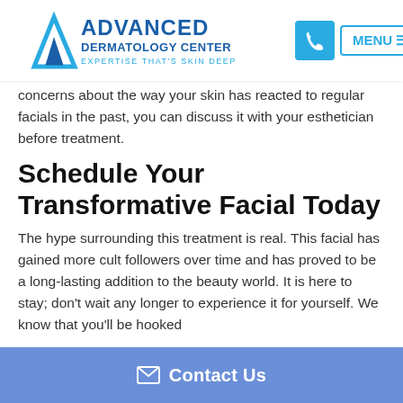Advanced Dermatology Center — EXPERTISE THAT'S SKIN DEEP
treatment prior to a special event, taking time to speak with out board-certified, and have glowing skin. If there's special day for you, if you have any concerns about the way your skin has reacted to regular facials in the past, you can discuss it with your esthetician before treatment.
Schedule Your Transformative Facial Today
The hype surrounding this treatment is real. This facial has gained more cult followers over time and has proved to be a long-lasting addition to the beauty world. It is here to stay; don't wait any longer to experience it for yourself. We know that you'll be hooked
Contact Us